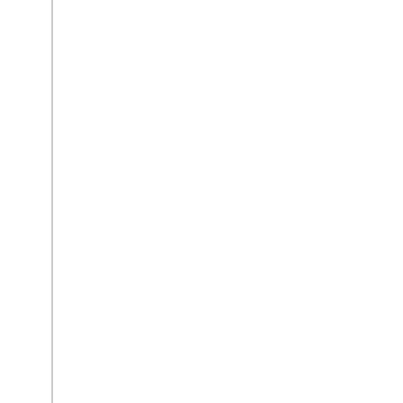snapshot preview of live gay cams. People here randomly get linked colle Afterward, companions might begin chatting about something or go to the
The Hidden Gem Of Live Sex Cams
Stick to this information and you'll definitely have the most effective cam e cams.com your body, you is usually a webcam model no matter your gen
Presenting Live Sex Cam Site
SlutRoulette lets guests meet engaging strangers who will satisfy your kin roulette for those who love cybersex. Connections load quick and ChatSp consistently. – And that's important because many random chat sites inclu
Some of them identical to to strip and others take it up a notch by displayi slightly different from your common intercourse cam web site. You can try fashions, such as you usually would.
There are several classes to choose from and a lot of scorching chicks to transgender folks, too, for those who are interested. These sex chat sites